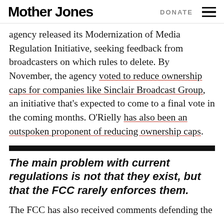Mother Jones | DONATE
agency released its Modernization of Media Regulation Initiative, seeking feedback from broadcasters on which rules to delete. By November, the agency voted to reduce ownership caps for companies like Sinclair Broadcast Group, an initiative that's expected to come to a final vote in the coming months. O'Rielly has also been an outspoken proponent of reducing ownership caps.
The main problem with current regulations is not that they exist, but that the FCC rarely enforces them.
The FCC has also received comments defending the